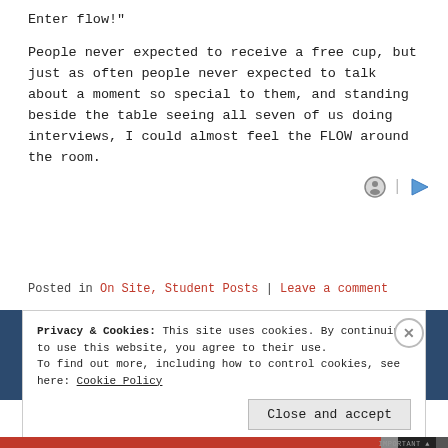Enter flow!"
People never expected to receive a free cup, but just as often people never expected to talk about a moment so special to them, and standing beside the table seeing all seven of us doing interviews, I could almost feel the FLOW around the room.
Posted in On Site, Student Posts | Leave a comment
Privacy & Cookies: This site uses cookies. By continuing to use this website, you agree to their use.
To find out more, including how to control cookies, see here: Cookie Policy